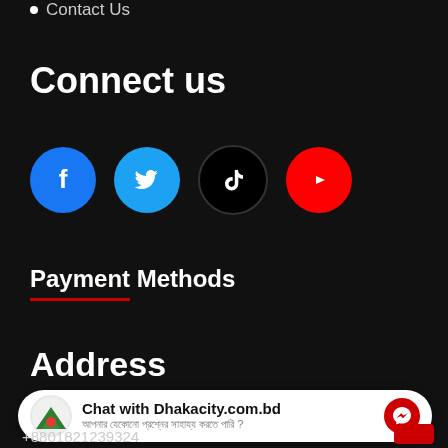Contact Us
Connect us
[Figure (illustration): Four social media icons in circles: Facebook (blue), Twitter (light blue), TikTok (black), YouTube (red)]
Payment Methods
Address
Chat with Dhakacity.com.bd — আপনার যেকোনো প্রশ্নের সাহায্য করতে পারি ?
+8801821239324